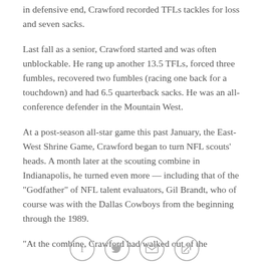In defensive end, Crawford recorded TFLs tackles for loss and seven sacks.
Last fall as a senior, Crawford started and was often unblockable. He rang up another 13.5 TFLs, forced three fumbles, recovered two fumbles (racing one back for a touchdown) and had 6.5 quarterback sacks. He was an all-conference defender in the Mountain West.
At a post-season all-star game this past January, the East-West Shrine Game, Crawford began to turn NFL scouts' heads. A month later at the scouting combine in Indianapolis, he turned even more — including that of the "Godfather" of NFL talent evaluators, Gil Brandt, who of course was with the Dallas Cowboys from the beginning through the 1989.
"At the combine, Crawford had walked out of the
[Figure (other): Social share icons: Facebook, Twitter, email, and link/copy icon arranged in a horizontal row]